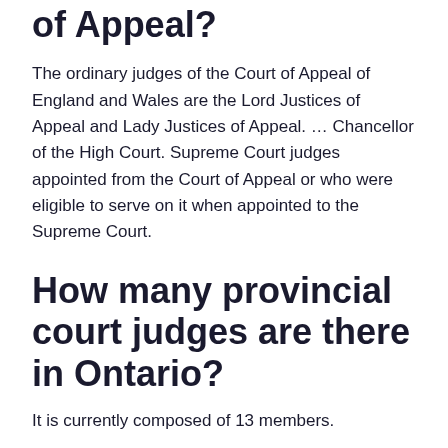of Appeal?
The ordinary judges of the Court of Appeal of England and Wales are the Lord Justices of Appeal and Lady Justices of Appeal. … Chancellor of the High Court. Supreme Court judges appointed from the Court of Appeal or who were eligible to serve on it when appointed to the Supreme Court.
How many provincial court judges are there in Ontario?
It is currently composed of 13 members.
How many judges make up Canada's Supreme Court?